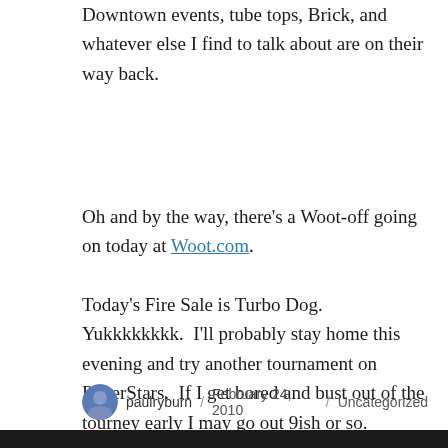Downtown events, tube tops, Brick, and whatever else I find to talk about are on their way back.
Oh and by the way, there's a Woot-off going on today at Woot.com.
Today's Fire Sale is Turbo Dog.  Yukkkkkkkk.  I'll probably stay home this evening and try another tournament on PokerStars.  If I get bored and bust out of the tourney early I may go out 9ish or so.
paulryburn / February 24, 2010 / Uncategorized